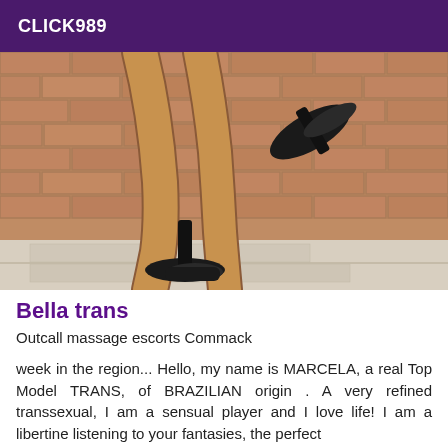CLICK989
[Figure (photo): Photo of legs in black high heels against a brick wall background]
Bella trans
Outcall massage escorts Commack
week in the region... Hello, my name is MARCELA, a real Top Model TRANS, of BRAZILIAN origin . A very refined transsexual, I am a sensual player and I love life! I am a libertine listening to your fantasies, the perfect